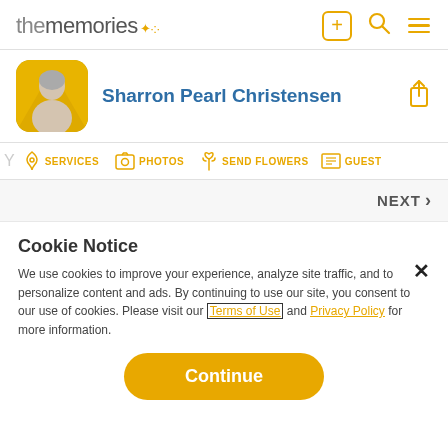thememories
Sharron Pearl Christensen
SERVICES  PHOTOS  SEND FLOWERS  GUEST
NEXT >
Cookie Notice
We use cookies to improve your experience, analyze site traffic, and to personalize content and ads. By continuing to use our site, you consent to our use of cookies. Please visit our Terms of Use and Privacy Policy for more information.
Continue